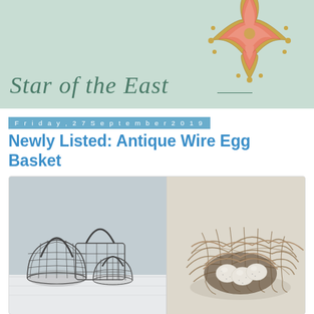[Figure (illustration): Website header banner with mint green background, 'Star of the East' in cursive script font, and a decorative starfish brooch/pin illustration in pink and gold on the right side]
Friday, 27 September 2019
Newly Listed: Antique Wire Egg Basket
[Figure (photo): Two antique wire egg baskets on a light surface (left image), and a bird's nest with three white speckled eggs on a white surface (right image)]